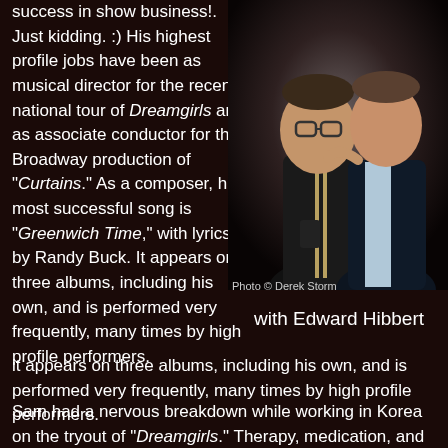success in show business!. Just kidding. :) His highest profile jobs have been as musical director for the recent national tour of Dreamgirls and as associate conductor for the Broadway production of "Curtains." As a composer, his most successful song is "Greenwich Time," with lyrics by Randy Buck. It appears on three albums, including his own, and is performed very frequently, many times by high profile performers.
[Figure (photo): Two men posing together, one wearing glasses and a striped scarf over a dark suit, the other in a dark suit with light shirt, smiling.]
Photo © Derek Storm
with Edward Hibbert
it appears on three albums, including his own, and is performed very frequently, many times by high profile performers.
Sam had a nervous breakdown while working in Korea on the tryout of "Dreamgirls." Therapy, medication, and the support